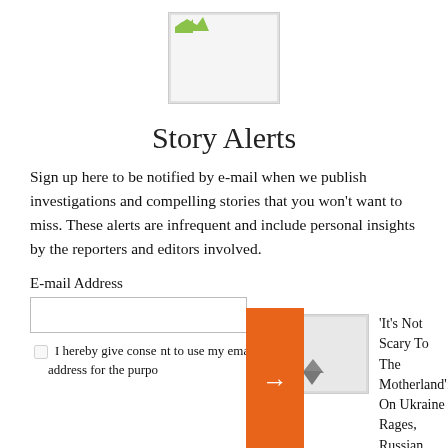[Figure (logo): Logo image placeholder with broken image icon]
Story Alerts
Sign up here to be notified by e-mail when we publish investigations and compelling stories that you won't want to miss. These alerts are infrequent and include personal insights by the reporters and editors involved.
E-mail Address
I hereby give conse[nt to use my email] address for the purpo[se of receiving alerts]
[Figure (photo): Thumbnail image with broken image icon and push-pin graphic, partially visible]
'It's Not Scary To [Go To] The Motherland': On Ukraine Rages, Russian Children Targeted For 'Patr[iotic] Education